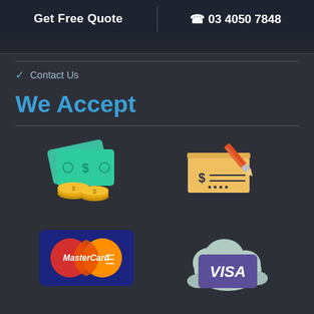Get Free Quote   |   03 4050 7848
Contact Us
We Accept
[Figure (illustration): Cash payment icon: green banknotes and gold coins]
[Figure (illustration): Check payment icon: yellow bank check with pen/pencil signing]
[Figure (illustration): MasterCard payment logo: red and yellow overlapping circles with MasterCard text]
[Figure (illustration): Visa payment icon: purple Visa card on a cloud background]